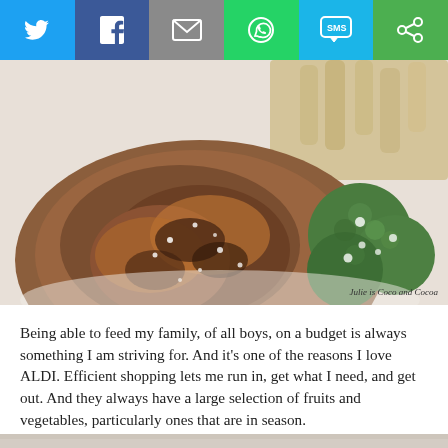[Figure (other): Social sharing bar with icons for Twitter, Facebook, Email, WhatsApp, SMS, and a share/Snapchat button on colored backgrounds (blue, dark blue, gray, green, light blue, green)]
[Figure (photo): Food photo showing roasted chicken thighs with Brussels sprouts and pasta, sprinkled with grated cheese. Credit: Julie is Coco and Cocoa]
Being able to feed my family, of all boys, on a budget is always something I am striving for. And it's one of the reasons I love ALDI. Efficient shopping lets me run in, get what I need, and get out. And they always have a large selection of fruits and vegetables, particularly ones that are in season.
[Figure (photo): Partial bottom strip of another food photo, cropped]